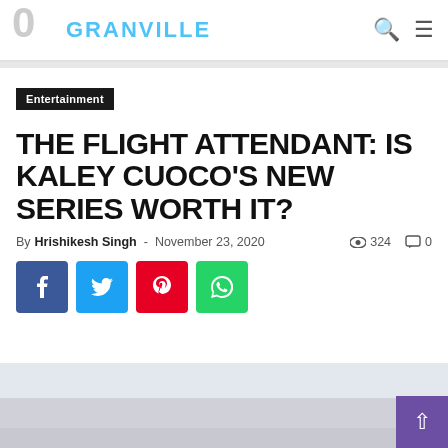GRANVILLE — navigation header with search and menu icons
Entertainment
THE FLIGHT ATTENDANT: IS KALEY CUOCO'S NEW SERIES WORTH IT?
By Hrishikesh Singh - November 23, 2020  324  0
[Figure (other): Social share buttons: Facebook (blue), Twitter (light blue), Pinterest (red), WhatsApp (green)]
[Figure (photo): Article image at bottom of page, light gray/sky background, partially visible]